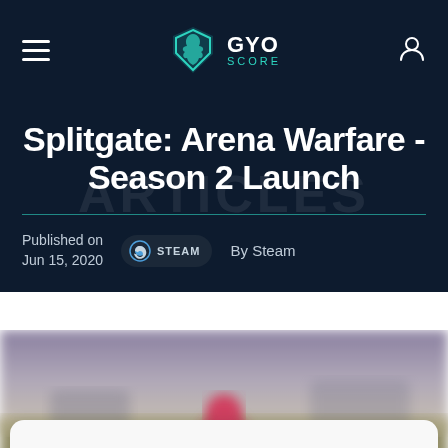GYO SCORE
Splitgate: Arena Warfare - Season 2 Launch
Published on Jun 15, 2020 By Steam
[Figure (photo): Blurred game screenshot showing a figure in red gear on an outdoor arena map]